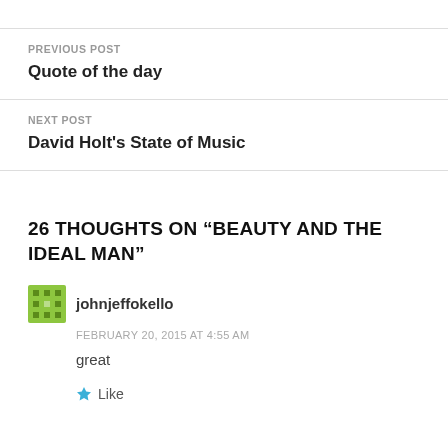PREVIOUS POST
Quote of the day
NEXT POST
David Holt's State of Music
26 THOUGHTS ON “BEAUTY AND THE IDEAL MAN”
johnjeffokello
FEBRUARY 20, 2015 AT 4:55 AM
great
Like